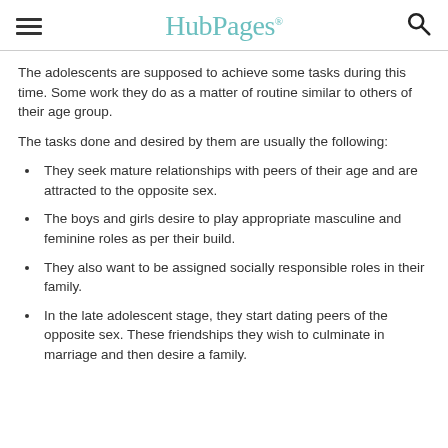HubPages
The adolescents are supposed to achieve some tasks during this time. Some work they do as a matter of routine similar to others of their age group.
The tasks done and desired by them are usually the following:
They seek mature relationships with peers of their age and are attracted to the opposite sex.
The boys and girls desire to play appropriate masculine and feminine roles as per their build.
They also want to be assigned socially responsible roles in their family.
In the late adolescent stage, they start dating peers of the opposite sex. These friendships they wish to culminate in marriage and then desire a family.